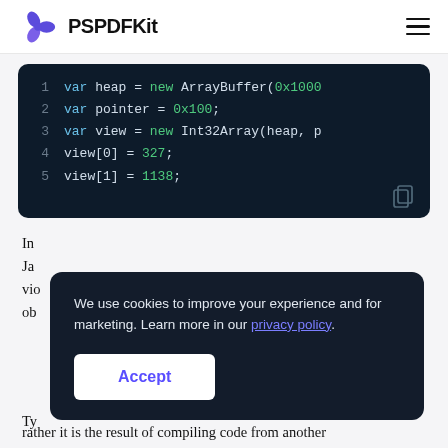PSPDFKit
[Figure (screenshot): Code block on dark background showing JavaScript lines 1-5: var heap = new ArrayBuffer(0x1000...), var pointer = 0x100;, var view = new Int32Array(heap, p...), view[0] = 327;, view[1] = 1138;]
In Ja vio ob
We use cookies to improve your experience and for marketing. Learn more in our privacy policy.
Accept
Ty
rather it is the result of compiling code from another